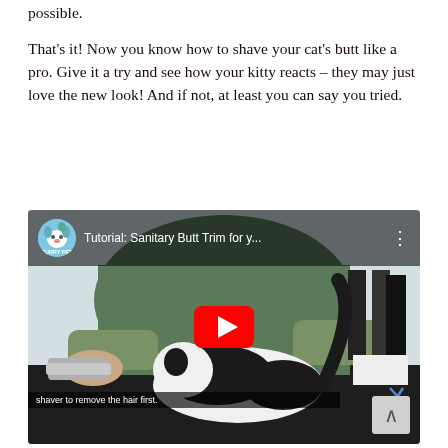possible.
That's it! Now you know how to shave your cat's butt like a pro. Give it a try and see how your kitty reacts – they may just love the new look! And if not, at least you can say you tried.
[Figure (screenshot): YouTube video thumbnail showing a groomer trimming a black and white cat on a grooming table. Video title: 'Tutorial: Sanitary Butt Trim for y...' with a channel avatar icon, YouTube play button overlay, and subtitle 'shaver to remove the hair first.' A scroll-up arrow button appears in the bottom right corner.]